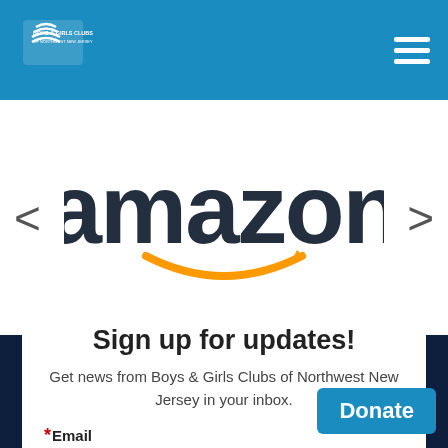Boys & Girls Clubs of Northwest New Jersey
[Figure (logo): Amazon logo with orange smile/arrow underneath the dark blue 'amazon' wordmark]
Sign up for updates!
Get news from Boys & Girls Clubs of Northwest New Jersey in your inbox.
*Email
Donate